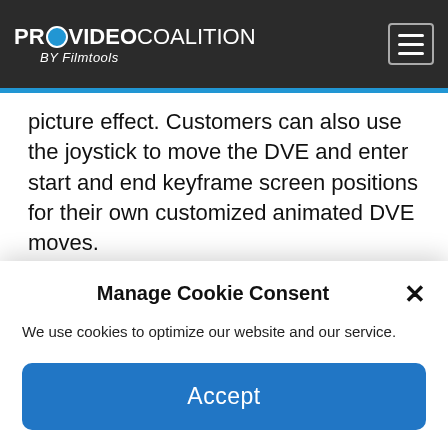PROVIDEO COALITION BY Filmtools
picture effect. Customers can also use the joystick to move the DVE and enter start and end keyframe screen positions for their own customized animated DVE moves.
Each system control LCD has a direct access keypad with a button for each function, and LCD and soft knobs and buttons. There's hundreds of switcher parameters available for
Manage Cookie Consent
We use cookies to optimize our website and our service.
Accept